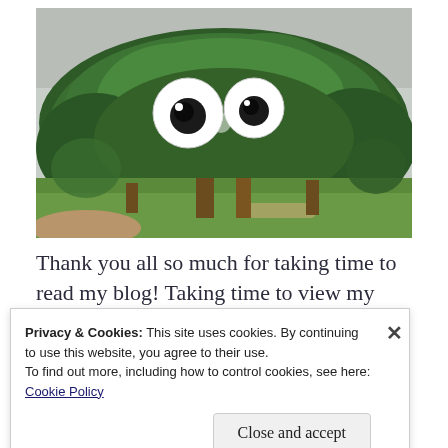[Figure (photo): Photograph of a large leafy green tree in a park with two large googly eyes props placed in the branches, making the tree look like a creature. Overcast sky, green grass and park paths visible.]
Thank you all so much for taking time to read my blog! Taking time to view my photo
Privacy & Cookies: This site uses cookies. By continuing to use this website, you agree to their use.
To find out more, including how to control cookies, see here:
Cookie Policy
Close and accept